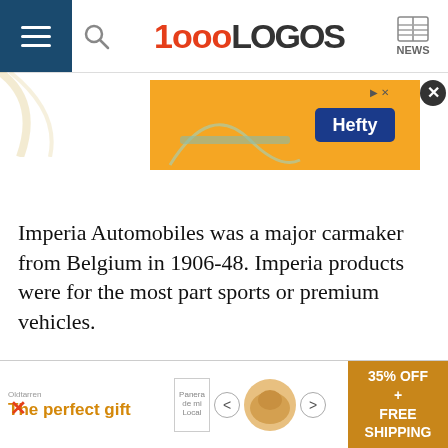1000LOGOS NEWS
[Figure (screenshot): Orange Hefty advertisement banner with Hefty logo]
Imperia Automobiles was a major carmaker from Belgium in 1906-48. Imperia products were for the most part sports or premium vehicles.
Imperial
[Figure (logo): Partial Imperial logo — black crown/crest design]
[Figure (screenshot): Bottom advertisement: The perfect gift, 35% OFF + FREE SHIPPING]